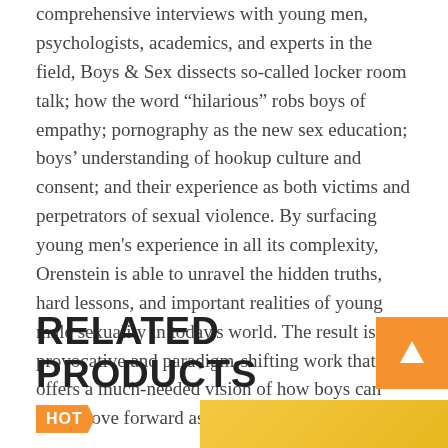comprehensive interviews with young men, psychologists, academics, and experts in the field, Boys & Sex dissects so-called locker room talk; how the word “hilarious” robs boys of empathy; pornography as the new sex education; boys’ understanding of hookup culture and consent; and their experience as both victims and perpetrators of sexual violence. By surfacing young men's experience in all its complexity, Orenstein is able to unravel the hidden truths, hard lessons, and important realities of young male sexuality in today's world. The result is a provocative and paradigm-shifting work that offers a much-needed vision of how boys can truly move forward as better men.
RELATED PRODUCTS
[Figure (other): Orange upward arrow button on right side next to RELATED PRODUCTS heading]
HOT
[Figure (other): Partially visible product image with yellow/orange background at bottom right]